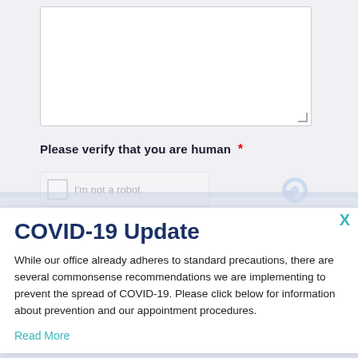Please verify that you are human *
COVID-19 Update
While our office already adheres to standard precautions, there are several commonsense recommendations we are implementing to prevent the spread of COVID-19. Please click below for information about prevention and our appointment procedures.
Read More